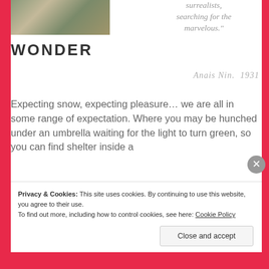[Figure (photo): Partial photo of an outdoor wooden structure with foliage in the background]
WONDER
surrealists, searching for the marvelous."
Anais Nin.  1931
Expecting snow, expecting pleasure… we are all in some range of expectation. Where you may be hunched under an umbrella waiting for the light to turn green, so you can find shelter inside a
Privacy & Cookies: This site uses cookies. By continuing to use this website, you agree to their use.
To find out more, including how to control cookies, see here: Cookie Policy
Close and accept